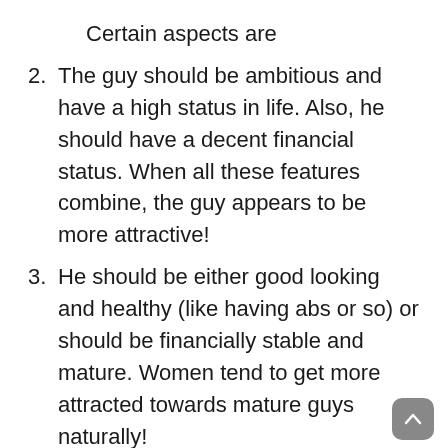Certain aspects are
2. The guy should be ambitious and have a high status in life. Also, he should have a decent financial status. When all these features combine, the guy appears to be more attractive!
3. He should be either good looking and healthy (like having abs or so) or should be financially stable and mature. Women tend to get more attracted towards mature guys naturally!
4. Men who are highly educated or have a high level of intelligence tend to attract more. Also, women desire for men who are more biased towards having a home and bringing up children under good parenting.
5. Also, lastly, women like men who are more social